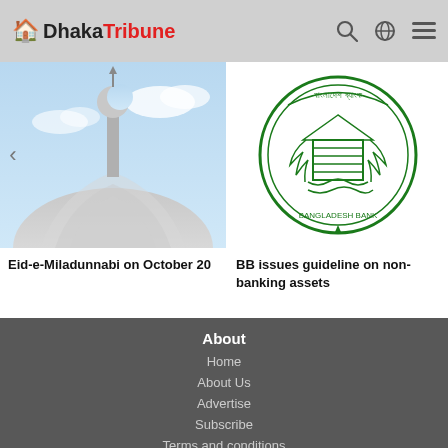Dhaka Tribune
[Figure (photo): Photo of mosque dome/minaret with crescent moon against blue sky]
[Figure (logo): Bangladesh Bank circular seal/logo in green]
Eid-e-Miladunnabi on October 20
BB issues guideline on non-banking assets
About
Home
About Us
Advertise
Subscribe
Terms and conditions
Privacy policy
Popular Links